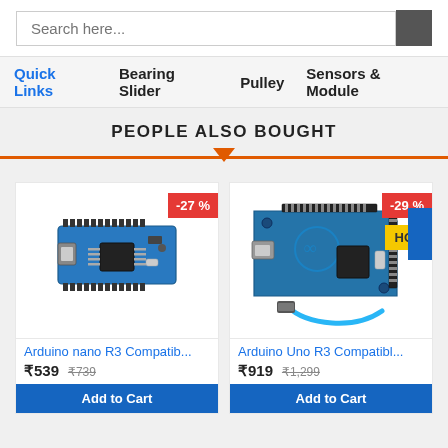Search here...
Quick Links   Bearing Slider   Pulley   Sensors & Module
PEOPLE ALSO BOUGHT
[Figure (photo): Arduino nano R3 compatible board with pin headers, showing microcontroller chip and USB port]
Arduino nano R3 Compatib...
₹539  ₹739
Add to Cart
[Figure (photo): Arduino Uno R3 compatible board with USB cable included]
Arduino Uno R3 Compatibl...
₹919  ₹1,299
Add to Cart